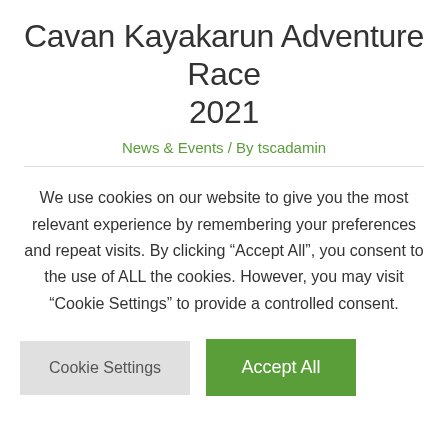Cavan Kayakarun Adventure Race 2021
News & Events / By tscadamin
We use cookies on our website to give you the most relevant experience by remembering your preferences and repeat visits. By clicking “Accept All”, you consent to the use of ALL the cookies. However, you may visit “Cookie Settings” to provide a controlled consent.